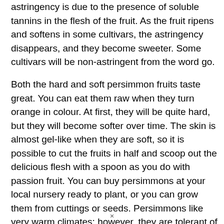astringency is due to the presence of soluble tannins in the flesh of the fruit. As the fruit ripens and softens in some cultivars, the astringency disappears, and they become sweeter. Some cultivars will be non-astringent from the word go.
Both the hard and soft persimmon fruits taste great. You can eat them raw when they turn orange in colour. At first, they will be quite hard, but they will become softer over time. The skin is almost gel-like when they are soft, so it is possible to cut the fruits in half and scoop out the delicious flesh with a spoon as you do with passion fruit. You can buy persimmons at your local nursery ready to plant, or you can grow them from cuttings or seeds. Persimmons like very warm climates; however, they are tolerant of many other factors. The persimmon fruit is native to Japanese soil, and their colourful fruit offers a
×